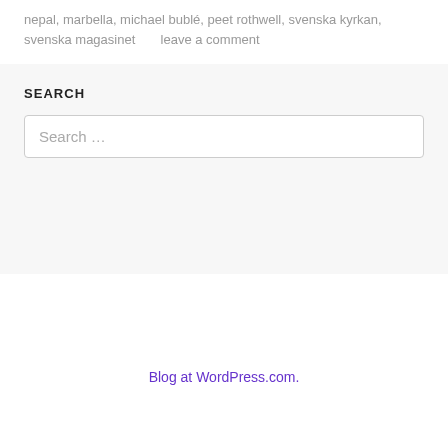nepal, marbella, michael bublé, peet rothwell, svenska kyrkan, svenska magasinet      leave a comment
SEARCH
Search …
Blog at WordPress.com.